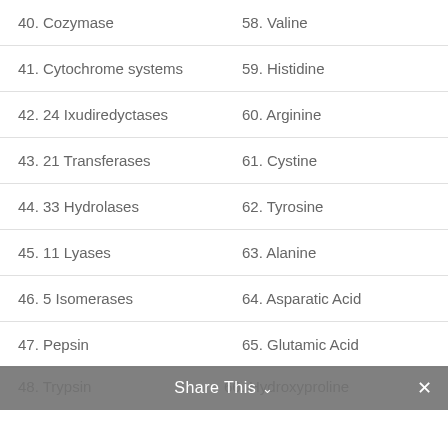| 40. Cozymase | 58. Valine |
| 41. Cytochrome systems | 59. Histidine |
| 42. 24 Ixudiredyctases | 60. Arginine |
| 43. 21 Transferases | 61. Cystine |
| 44. 33 Hydrolases | 62. Tyrosine |
| 45. 11 Lyases | 63. Alanine |
| 46. 5 Isomerases | 64. Asparatic Acid |
| 47. Pepsin | 65. Glutamic Acid |
| 48. Trypsin | 66. Hydroxyproline |
Share This ∨  ✕